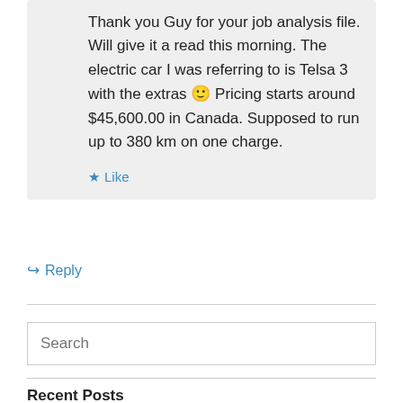Thank you Guy for your job analysis file. Will give it a read this morning. The electric car I was referring to is Telsa 3 with the extras 🙂 Pricing starts around $45,600.00 in Canada. Supposed to run up to 380 km on one charge.
Like
Reply
Search
Recent Posts